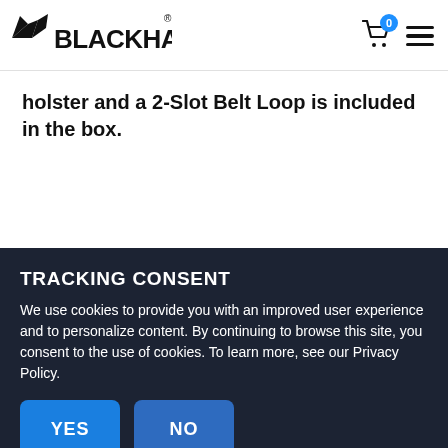BLACKHAWK
holster and a 2-Slot Belt Loop is included in the box.
TRACKING CONSENT
We use cookies to provide you with an improved user experience and to personalize content. By continuing to browse this site, you consent to the use of cookies. To learn more, see our Privacy Policy.
YES
NO